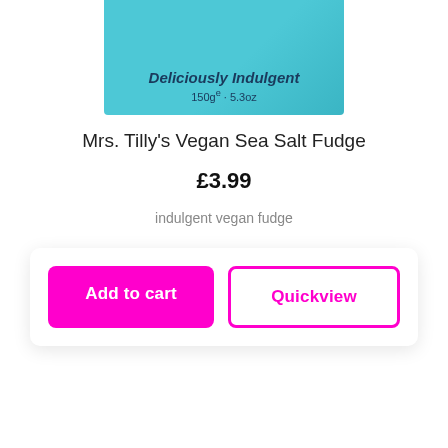[Figure (photo): Partial view of a teal/blue product box for Mrs. Tilly's Vegan Sea Salt Fudge, showing 'Deliciously Indulgent' text and '150g · 5.3oz' weight information]
Mrs. Tilly's Vegan Sea Salt Fudge
£3.99
indulgent vegan fudge
Add to cart
Quickview